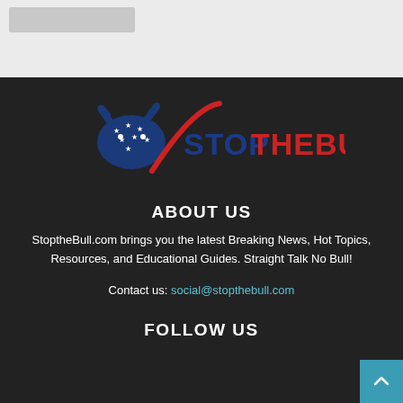[Figure (other): Gray placeholder bar at top of page]
[Figure (logo): StopTheBull logo: blue bull with stars on left, red swoosh, text STOP in blue and THEBULL in red]
ABOUT US
StoptheBull.com brings you the latest Breaking News, Hot Topics, Resources, and Educational Guides. Straight Talk No Bull!
Contact us: social@stopthebull.com
FOLLOW US